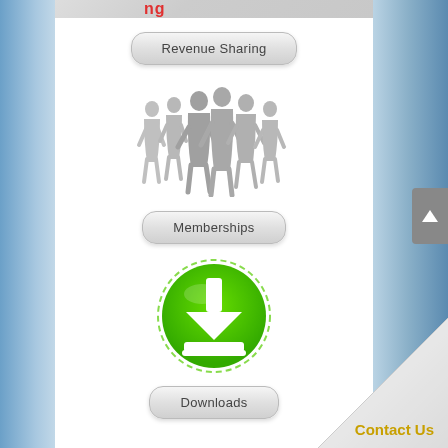[Figure (illustration): Partial top strip showing a red text logo/banner, cropped at top]
Revenue Sharing
[Figure (illustration): Gray silhouette of a group of people walking]
Memberships
[Figure (illustration): Green circular download icon with white downward arrow and tray]
Downloads
Contact Us